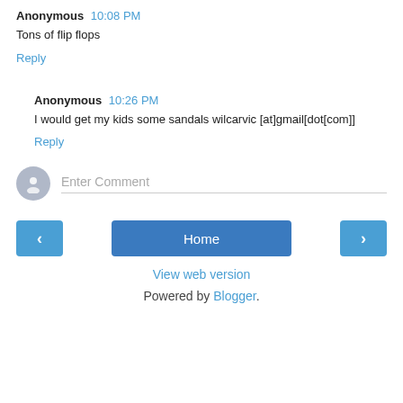Anonymous 10:08 PM
Tons of flip flops
Reply
Anonymous 10:26 PM
I would get my kids some sandals wilcarvic [at]gmail[dot[com]]
Reply
Enter Comment
Home
View web version
Powered by Blogger.